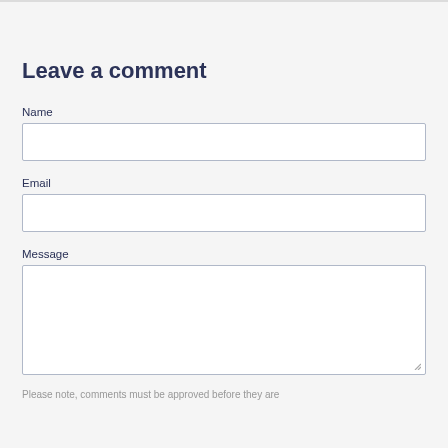Leave a comment
Name
Email
Message
Please note, comments must be approved before they are